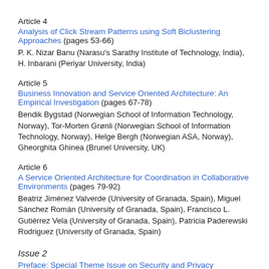Article 4
Analysis of Click Stream Patterns using Soft Biclustering Approaches (pages 53-66)
P. K. Nizar Banu (Narasu's Sarathy Institute of Technology, India), H. Inbarani (Periyar University, India)
Article 5
Business Innovation and Service Oriented Architecture: An Empirical Investigation (pages 67-78)
Bendik Bygstad (Norwegian School of Information Technology, Norway), Tor-Morten Grønli (Norwegian School of Information Technology, Norway), Helge Bergh (Norwegian ASA, Norway), Gheorghita Ghinea (Brunel University, UK)
Article 6
A Service Oriented Architecture for Coordination in Collaborative Environments (pages 79-92)
Beatriz Jiménez Valverde (University of Granada, Spain), Miguel Sánchez Román (University of Granada, Spain), Francisco L. Gutiérrez Vela (University of Granada, Spain), Patricia Paderewski Rodriguez (University of Granada, Spain)
Issue 2
Preface: Special Theme Issue on Security and Privacy